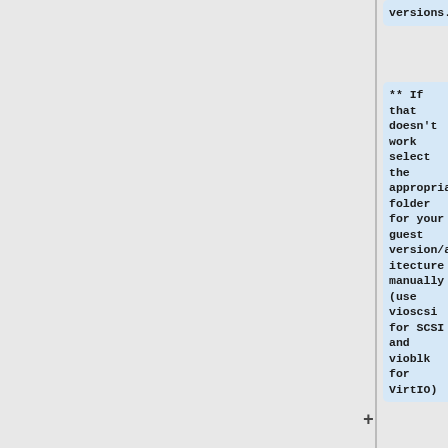versions.
** If that doesn't work select the appropriate folder for your guest version/architecture manually (use vioscsi for SCSI and vioblk for VirtIO)
* Click Next to begin the install.You may get a warning about the